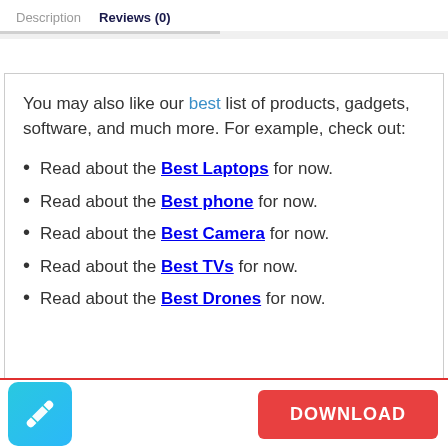Description   Reviews (0)
You may also like our best list of products, gadgets, software, and much more. For example, check out:
Read about the Best Laptops for now.
Read about the Best phone for now.
Read about the Best Camera for now.
Read about the Best TVs for now.
Read about the Best Drones for now.
[Figure (logo): Cyan/blue square icon with ticket/label graphic]
DOWNLOAD